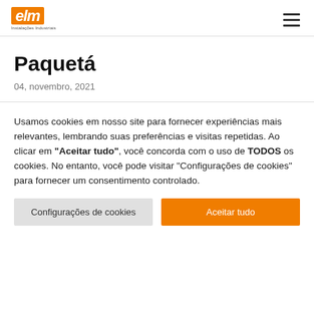eim Instalações Industriais
Paquetá
04, novembro, 2021
Usamos cookies em nosso site para fornecer experiências mais relevantes, lembrando suas preferências e visitas repetidas. Ao clicar em "Aceitar tudo", você concorda com o uso de TODOS os cookies. No entanto, você pode visitar "Configurações de cookies" para fornecer um consentimento controlado.
Configurações de cookies | Aceitar tudo